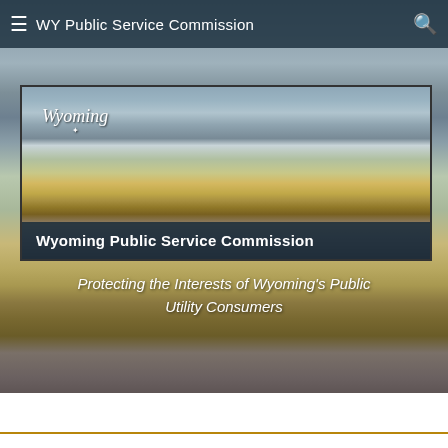WY Public Service Commission
[Figure (photo): Wyoming Public Service Commission hero banner showing a historic barn with the Grand Teton mountains in the background, golden grasslands in the foreground, with Wyoming state logo in upper left and commission title overlaid at the bottom]
Wyoming Public Service Commission
Protecting the Interests of Wyoming's Public Utility Consumers